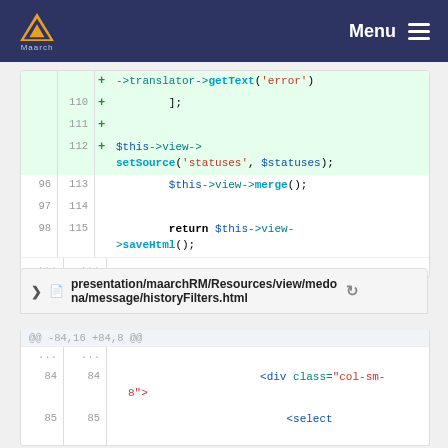Maarch Menu
[Figure (screenshot): Code diff block showing lines 110-115 with added lines for translator->getText('error'), setSource('statuses', $statuses), view->merge(), and return view->saveHtml()]
presentation/maarchRM/Resources/view/medona/message/historyFilters.html
[Figure (screenshot): Code diff block showing lines 84-85 with HTML code: <div class="col-sm-8"> and <select]